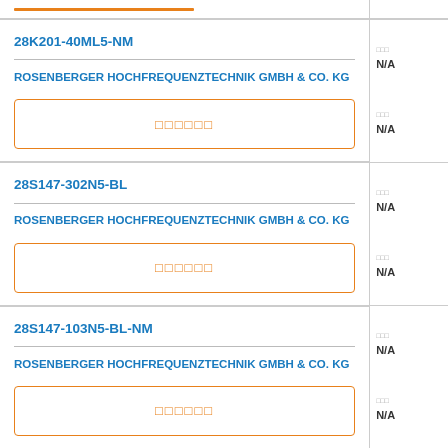28K201-40ML5-NM
ROSENBERGER HOCHFREQUENZTECHNIK GMBH & CO. KG
[Figure (other): Orange bordered image placeholder box with placeholder text]
N/A
N/A
28S147-302N5-BL
ROSENBERGER HOCHFREQUENZTECHNIK GMBH & CO. KG
[Figure (other): Orange bordered image placeholder box with placeholder text]
N/A
N/A
28S147-103N5-BL-NM
ROSENBERGER HOCHFREQUENZTECHNIK GMBH & CO. KG
[Figure (other): Orange bordered image placeholder box with placeholder text]
N/A
N/A